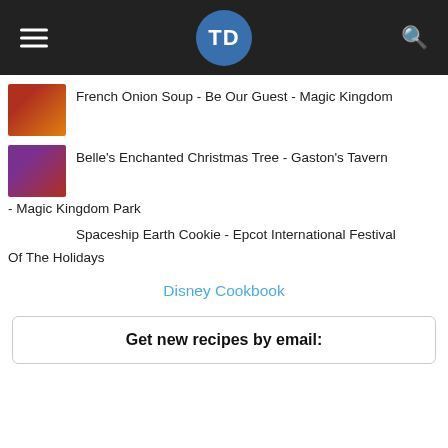TD
French Onion Soup - Be Our Guest - Magic Kingdom
Belle's Enchanted Christmas Tree - Gaston's Tavern - Magic Kingdom Park
Spaceship Earth Cookie - Epcot International Festival Of The Holidays
Disney Cookbook
Get new recipes by email: